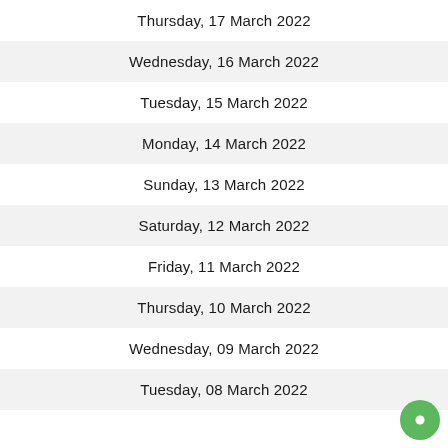Thursday, 17 March 2022
Wednesday, 16 March 2022
Tuesday, 15 March 2022
Monday, 14 March 2022
Sunday, 13 March 2022
Saturday, 12 March 2022
Friday, 11 March 2022
Thursday, 10 March 2022
Wednesday, 09 March 2022
Tuesday, 08 March 2022